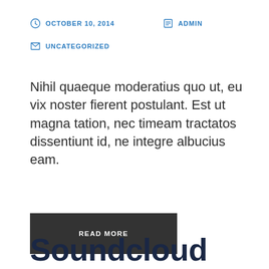OCTOBER 10, 2014   ADMIN
UNCATEGORIZED
Nihil quaeque moderatius quo ut, eu vix noster fierent postulant. Est ut magna tation, nec timeam tractatos dissentiunt id, ne integre albucius eam.
READ MORE
Soundcloud Audio